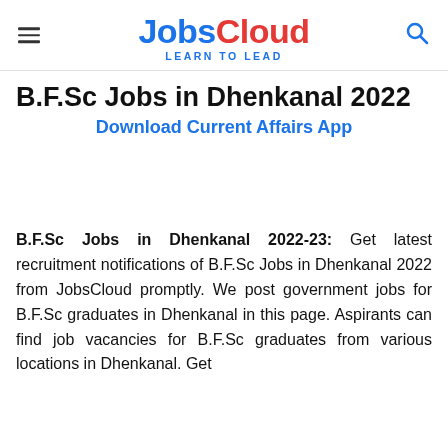JobsCloud LEARN TO LEAD
B.F.Sc Jobs in Dhenkanal 2022
Download Current Affairs App
B.F.Sc Jobs in Dhenkanal 2022-23: Get latest recruitment notifications of B.F.Sc Jobs in Dhenkanal 2022 from JobsCloud promptly. We post government jobs for B.F.Sc graduates in Dhenkanal in this page. Aspirants can find job vacancies for B.F.Sc graduates from various locations in Dhenkanal. Get